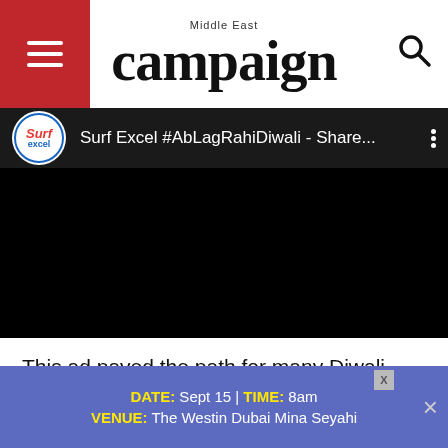campaign Middle East
[Figure (screenshot): YouTube video embed showing Surf Excel #AbLagRahiDiwali - Share... with Surf Excel logo, black video area, and three-dot menu.]
This ad paved the path for many Diwali centric ads. It truly changed the brand narratives from being product-driven to placing themselves as drivers of change by connecting with th
[Figure (other): Advertisement banner: DATE: Sept 15 | TIME: 8am, VENUE: The Westin Dubai Mina Seyahi, with close button.]